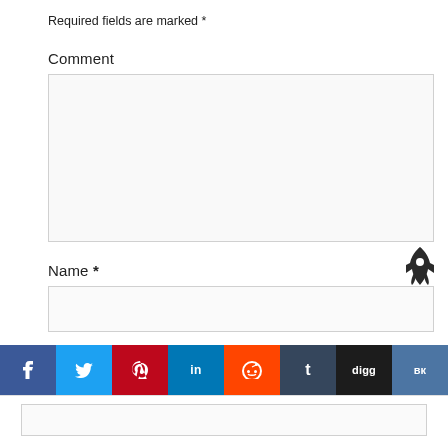Required fields are marked *
Comment
[Figure (screenshot): Empty textarea input box for comment]
Name *
[Figure (screenshot): Empty text input box for name]
Email *
[Figure (screenshot): Social sharing bar with buttons: f, twitter bird, pinterest, in, reddit alien, t, digg, vk]
[Figure (screenshot): Rocket icon (dark silhouette)]
[Figure (screenshot): Empty text input partial view at bottom]